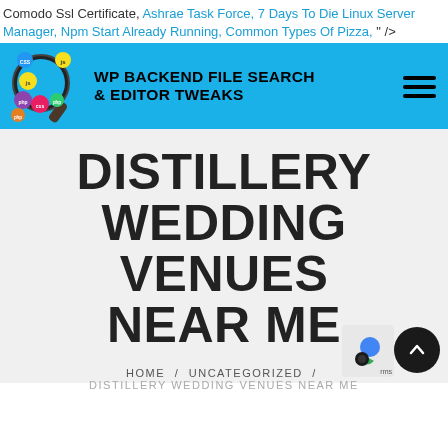Comodo Ssl Certificate, Ashrae Task Force, 7 Days To Die Linux Server Manager, Npm Start Already Running, Common Types Of Pizza, " />
[Figure (logo): WP Backend File Search & Editor Tweaks logo on blue banner with magnifying glass icon showing CSS, JS, PHP labels and hamburger menu]
DISTILLERY WEDDING VENUES NEAR ME
HOME / UNCATEGORIZED / DISTILLERY WEDDING VENUES NEAR ME